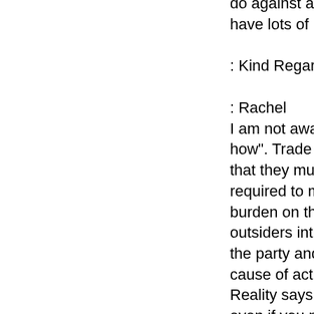do against a clearly unreasonable law-suit, g have lots of money and we have little?
: Kind Regards,
: Rachel
I am not aware of any cause of action for the how". Trade secrets yes! For trade secrets it that they must be defined and a written agre required to maintain a cause of action. There burden on the owner to take steps to protect outsiders intrusion my be different. In the Fe the party and the attornies are under a burde cause of action. There are penalties for over Reality says that it may cost you much pain a even if you prevail an illegitimate attack. The bono help if you are victimized. It may be ha open youself to giving the University a gtatui what you do after you leave. Create a paper correspondence with the University to make shut up. Make them reply and define what th have and what they want.
M. Arthur Auslander
E arly L egal A dvice I s N ot E xpensive
ELAINE's Workshop (sm):
Auslander & Thomas-Intellectual Property La